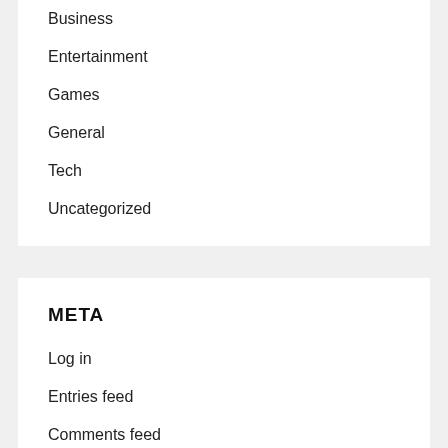Business
Entertainment
Games
General
Tech
Uncategorized
META
Log in
Entries feed
Comments feed